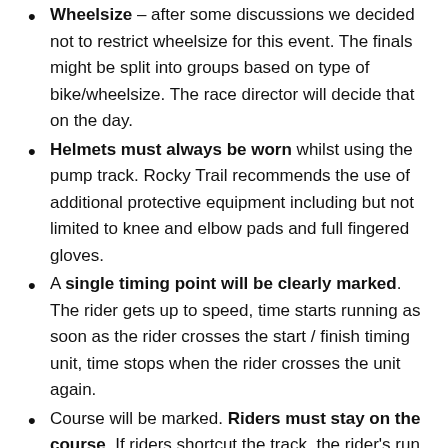Wheelsize – after some discussions we decided not to restrict wheelsize for this event. The finals might be split into groups based on type of bike/wheelsize. The race director will decide that on the day.
Helmets must always be worn whilst using the pump track. Rocky Trail recommends the use of additional protective equipment including but not limited to knee and elbow pads and full fingered gloves.
A single timing point will be clearly marked. The rider gets up to speed, time starts running as soon as the rider crosses the start / finish timing unit, time stops when the rider crosses the unit again.
Course will be marked. Riders must stay on the course. If riders shortcut the track, the rider's run will not count and riders will be warned. A rider who